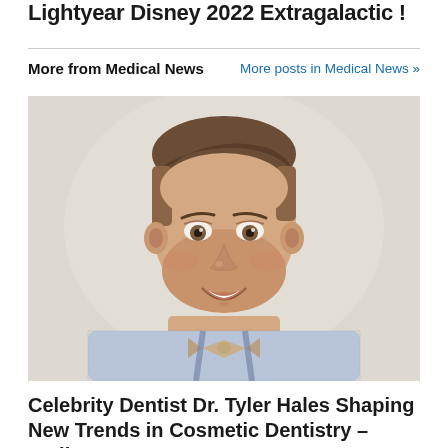Lightyear Disney 2022 Extragalactic !
More from Medical News
More posts in Medical News »
[Figure (photo): Headshot of a smiling young man wearing a blue plaid shirt and tan bow tie, with short brown hair, against a light background.]
Celebrity Dentist Dr. Tyler Hales Shaping New Trends in Cosmetic Dentistry – Smile